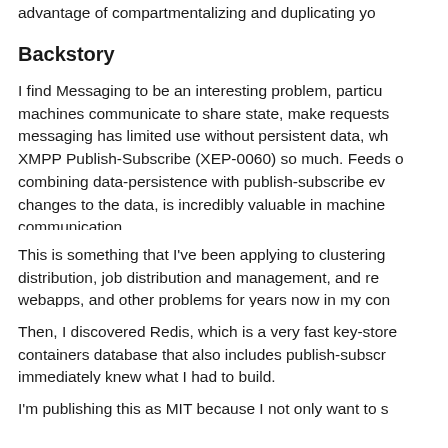advantage of compartmentalizing and duplicating yo…
Backstory
I find Messaging to be an interesting problem, particu… machines communicate to share state, make requests… messaging has limited use without persistent data, wh… XMPP Publish-Subscribe (XEP-0060) so much. Feeds o… combining data-persistence with publish-subscribe ev… changes to the data, is incredibly valuable in machine… communication.
This is something that I've been applying to clustering… distribution, job distribution and management, and re… webapps, and other problems for years now in my con…
Then, I discovered Redis, which is a very fast key-store… containers database that also includes publish-subscr… immediately knew what I had to build.
I'm publishing this as MIT because I not only want to s…